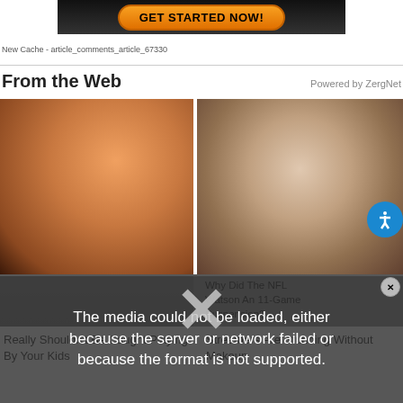[Figure (screenshot): Dark banner ad with orange 'GET STARTED NOW!' button]
New Cache - article_comments_article_67330
From the Web
Powered by ZergNet
[Figure (photo): Left: Close-up of animated female character face with brown hair and stylized makeup. Right: Close-up of real woman's face with brown hair and makeup.]
Why Did The NFL Watson An 11-Game Suspension?
The media could not be loaded, either because the server or network failed or because the format is not supported.
Really Shouldn't Be Caught Playing By Your Kids
Streamers Are Stunning Without Makeup